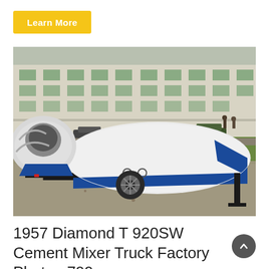[Figure (other): Yellow 'Learn More' button]
[Figure (photo): Photo of a 1957 Diamond T 920SW cement mixer truck on a trailer, white body with blue stripe, parked on gravel with a large building in the background.]
1957 Diamond T 920SW Cement Mixer Truck Factory Photo u700